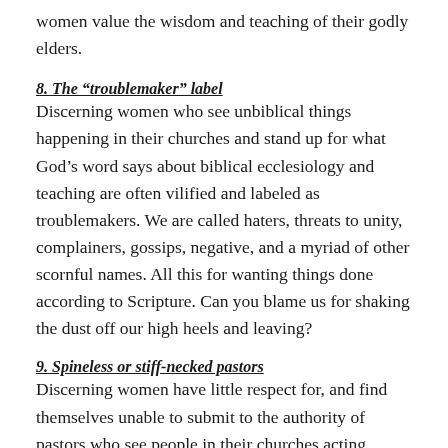women value the wisdom and teaching of their godly elders.
8. The “troublemaker” label
Discerning women who see unbiblical things happening in their churches and stand up for what God’s word says about biblical ecclesiology and teaching are often vilified and labeled as troublemakers. We are called haters, threats to unity, complainers, gossips, negative, and a myriad of other scornful names. All this for wanting things done according to Scripture. Can you blame us for shaking the dust off our high heels and leaving?
9. Spineless or stiff-necked pastors
Discerning women have little respect for, and find themselves unable to submit to the authority of pastors who see people in their churches acting